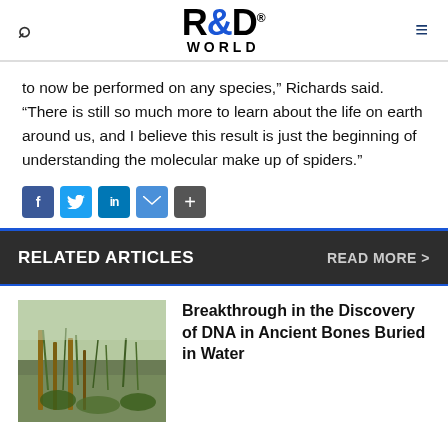R&D World
to now be performed on any species,” Richards said. “There is still so much more to learn about the life on earth around us, and I believe this result is just the beginning of understanding the molecular make up of spiders.”
[Figure (infographic): Social sharing icons: Facebook, Twitter, LinkedIn, Email, Share]
RELATED ARTICLES
READ MORE >
[Figure (photo): Wetland scene with reeds, wooden stakes, and water]
Breakthrough in the Discovery of DNA in Ancient Bones Buried in Water